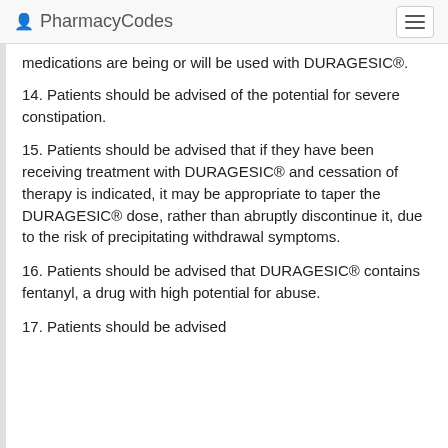PharmacyCodes
medications are being or will be used with DURAGESIC®.
14. Patients should be advised of the potential for severe constipation.
15. Patients should be advised that if they have been receiving treatment with DURAGESIC® and cessation of therapy is indicated, it may be appropriate to taper the DURAGESIC® dose, rather than abruptly discontinue it, due to the risk of precipitating withdrawal symptoms.
16. Patients should be advised that DURAGESIC® contains fentanyl, a drug with high potential for abuse.
17. Patients should be advised...